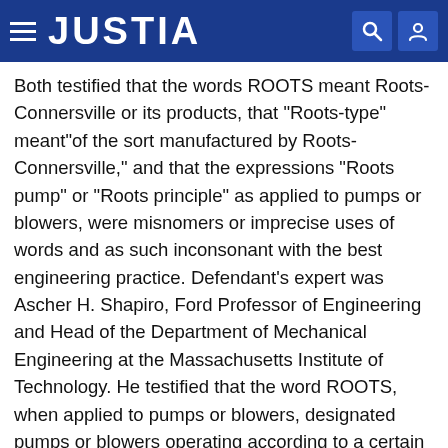JUSTIA
Both testified that the words ROOTS meant Roots-Connersville or its products, that "Roots-type" meant"of the sort manufactured by Roots-Connersville," and that the expressions "Roots pump" or "Roots principle" as applied to pumps or blowers, were misnomers or imprecise uses of words and as such inconsonant with the best engineering practice. Defendant's expert was Ascher H. Shapiro, Ford Professor of Engineering and Head of the Department of Mechanical Engineering at the Massachusetts Institute of Technology. He testified that the word ROOTS, when applied to pumps or blowers, designated pumps or blowers operating according to a certain particular concept or principle. This principle, which Professor Shapiro testified was known throughout the world to those working in the field of air and gas handling as "the Roots principle," was defined by him as